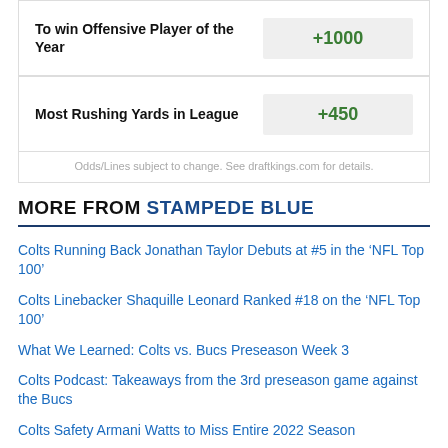| Bet Type | Odds |
| --- | --- |
| To win Offensive Player of the Year | +1000 |
| Most Rushing Yards in League | +450 |
Odds/Lines subject to change. See draftkings.com for details.
MORE FROM STAMPEDE BLUE
Colts Running Back Jonathan Taylor Debuts at #5 in the ‘NFL Top 100’
Colts Linebacker Shaquille Leonard Ranked #18 on the ‘NFL Top 100’
What We Learned: Colts vs. Bucs Preseason Week 3
Colts Podcast: Takeaways from the 3rd preseason game against the Bucs
Colts Safety Armani Watts to Miss Entire 2022 Season